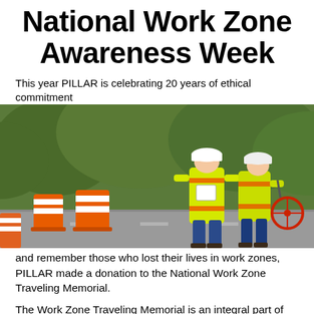National Work Zone Awareness Week
This year PILLAR is celebrating 20 years of ethical commitment
[Figure (photo): Two construction workers in yellow high-visibility vests and white hard hats standing on a road near orange and white traffic barrels, with dense green bushes/trees in the background. One worker appears to be holding a clipboard or tablet, the other holds a measuring wheel.]
and remember those who lost their lives in work zones, PILLAR made a donation to the National Work Zone Traveling Memorial.
The Work Zone Traveling Memorial is an integral part of the National Work Zone Awareness Week and is inscribed with more than 1,600 names of individuals who lost their lives in